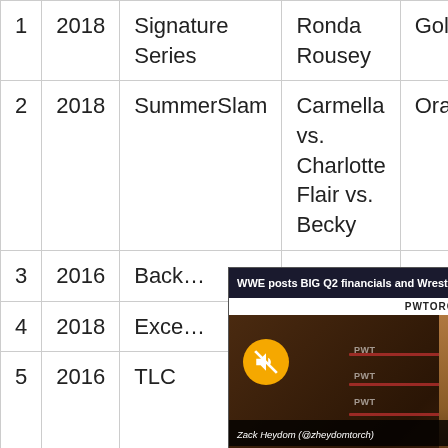| # | Year | Event | Match | Card |
| --- | --- | --- | --- | --- |
| 1 | 2018 | Signature Series | Ronda Rousey | Gold |
| 2 | 2018 | SummerSlam | Carmella vs. Charlotte Flair vs. Becky Lynch | Orange |
| 3 | 2016 | Back... |  |  |
| 4 | 2018 | Exce... |  |  |
| 5 | 2016 | TLC | vs. Becky Lynch | Signature Award |
[Figure (screenshot): Video overlay popup titled 'WWE posts BIG Q2 financials and Wrestl...' from PWTORCH, showing a man (Zack Heydom @zheydomtorch) speaking to camera with a wrestling ring background, with a mute button icon and NEWSWIRE label at the bottom.]